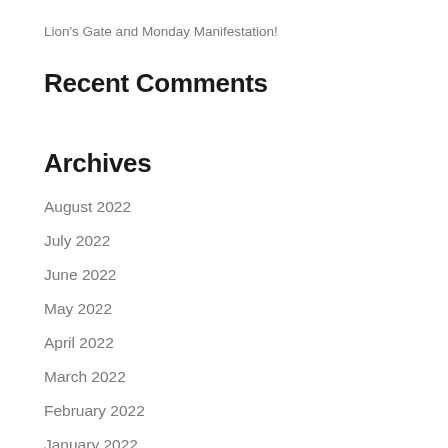Lion's Gate and Monday Manifestation!
Recent Comments
Archives
August 2022
July 2022
June 2022
May 2022
April 2022
March 2022
February 2022
January 2022